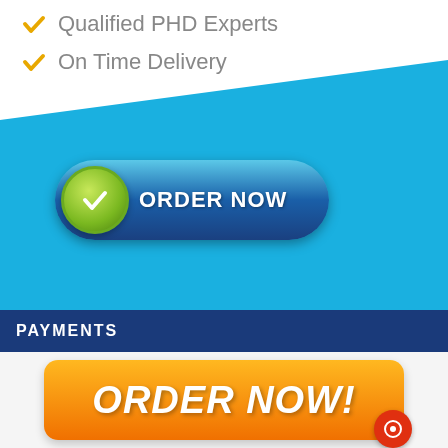✓ Qualified PHD Experts
✓ On Time Delivery
[Figure (illustration): Blue diagonal banner with an ORDER NOW button featuring a green checkmark circle on the left and dark blue pill-shaped button with white text]
PAYMENTS
[Figure (illustration): Large orange rounded rectangle button with white bold italic text ORDER NOW! and a red chat circle icon in the bottom right corner]